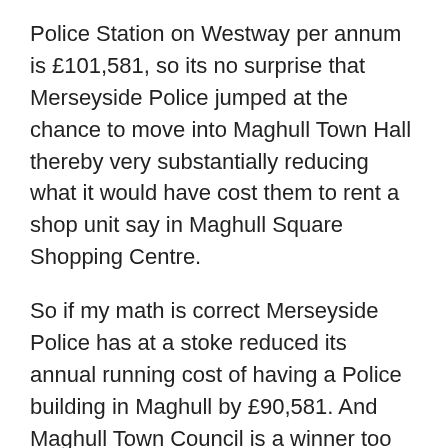Police Station on Westway per annum is £101,581, so its no surprise that Merseyside Police jumped at the chance to move into Maghull Town Hall thereby very substantially reducing what it would have cost them to rent a shop unit say in Maghull Square Shopping Centre.
So if my math is correct Merseyside Police has at a stoke reduced its annual running cost of having a Police building in Maghull by £90,581. And Maghull Town Council is a winner too as it has £11,000 coming in each year and no youth support staff to pay either as the youth facility is no more. If memory serves the CAB facility was provided by the Town Council at nil cost to Sefton CAB.
The cost of converting the youth facility into a police station? A budget of £60,000 has be allocated by